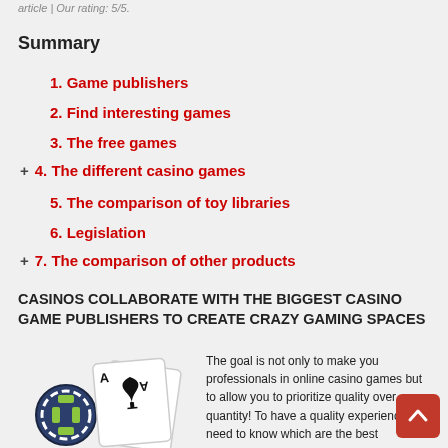article | Our rating: 5/5.
Summary
1. Game publishers
2. Find interesting games
3. The free games
+ 4. The different casino games
5. The comparison of toy libraries
6. Legislation
+ 7. The comparison of other products
CASINOS COLLABORATE WITH THE BIGGEST CASINO GAME PUBLISHERS TO CREATE CRAZY GAMING SPACES
[Figure (illustration): Playing cards (Ace and Jack of spades) with a casino chip illustration]
The goal is not only to make you professionals in online casino games but to allow you to prioritize quality over quantity! To have a quality experience you need to know which are the best